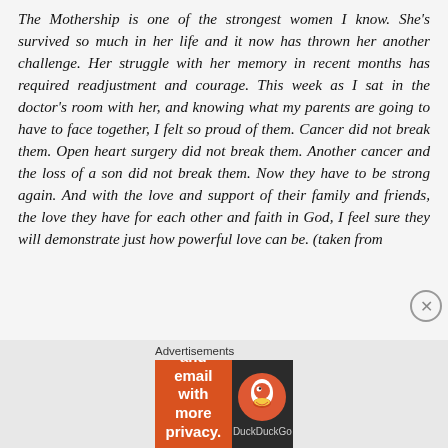The Mothership is one of the strongest women I know. She's survived so much in her life and it now has thrown her another challenge. Her struggle with her memory in recent months has required readjustment and courage. This week as I sat in the doctor's room with her, and knowing what my parents are going to have to face together, I felt so proud of them. Cancer did not break them. Open heart surgery did not break them. Another cancer and the loss of a son did not break them. Now they have to be strong again. And with the love and support of their family and friends, the love they have for each other and faith in God, I feel sure they will demonstrate just how powerful love can be. (taken from
[Figure (other): DuckDuckGo advertisement banner: orange left panel with text 'Search, browse, and email with more privacy. All in One Free App' and dark right panel with DuckDuckGo logo and name.]